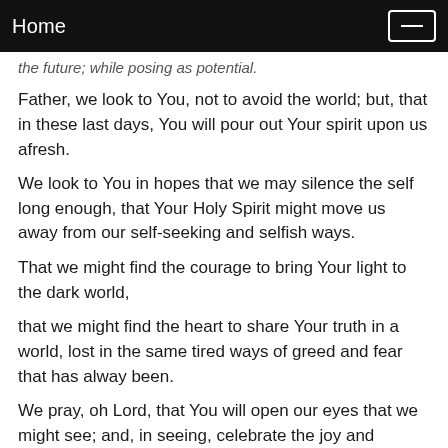Home
the future; while posing as potential.
Father, we look to You, not to avoid the world; but, that in these last days, You will pour out Your spirit upon us afresh.
We look to You in hopes that we may silence the self long enough, that Your Holy Spirit might move us away from our self-seeking and selfish ways.
That we might find the courage to bring Your light to the dark world,
that we might find the heart to share Your truth in a world, lost in the same tired ways of greed and fear that has alway been.
We pray, oh Lord, that You will open our eyes that we might see; and, in seeing, celebrate the joy and gladness that comes from trust in You.
Father, this day, Your day, we praise Your Holy Name with